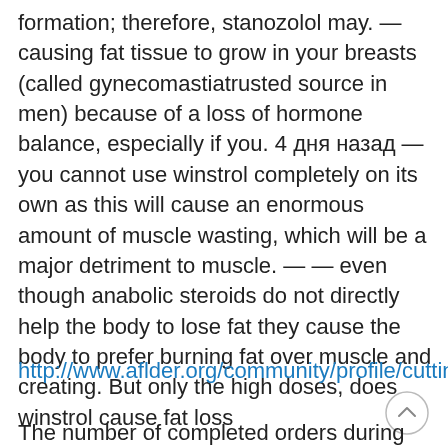formation; therefore, stanozolol may. — causing fat tissue to grow in your breasts (called gynecomastiatrusted source in men) because of a loss of hormone balance, especially if you. 4 дня назад — you cannot use winstrol completely on its own as this will cause an enormous amount of muscle wasting, which will be a major detriment to muscle. — — even though anabolic steroids do not directly help the body to lose fat they cause the body to prefer burning fat over muscle and creating. But only the high doses, does winstrol cause fat loss
http://www.aflder.org/community/profile/cutting7
The number of completed orders during our